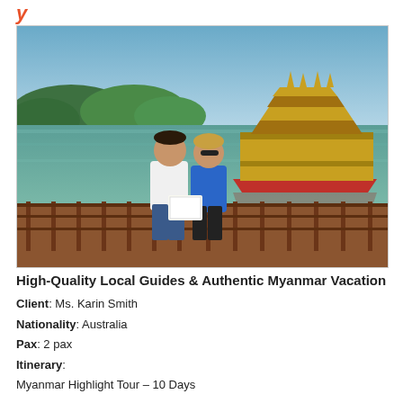[Figure (photo): Two people (a man in a white t-shirt and jeans, and a woman in a blue shirt and black pants wearing sunglasses) standing on a wooden deck/railing by a lake, holding a document. In the background is a large ornate golden Myanmar-style floating palace/restaurant structure on the water, with trees and a clear blue sky.]
High-Quality Local Guides & Authentic Myanmar Vacation
Client: Ms. Karin Smith
Nationality: Australia
Pax: 2 pax
Itinerary:
Myanmar Highlight Tour – 10 Days